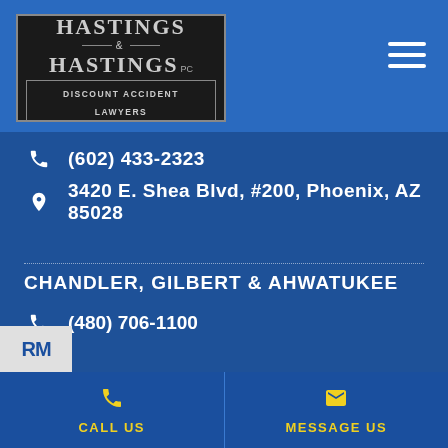[Figure (logo): Hastings & Hastings PC Discount Accident Lawyers logo — dark background with grey border, serif text]
(602) 433-2323
3420 E. Shea Blvd, #200, Phoenix, AZ 85028
CHANDLER, GILBERT & AHWATUKEE
(480) 706-1100
CALL US
MESSAGE US